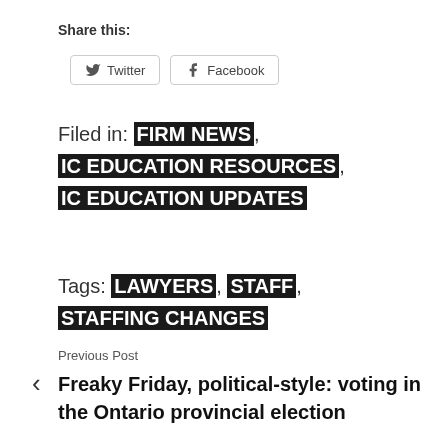Share this:
Twitter   Facebook
Filed in: FIRM NEWS, IC EDUCATION RESOURCES, IC EDUCATION UPDATES
Tags: LAWYERS, STAFF, STAFFING CHANGES
Previous Post
Freaky Friday, political-style: voting in the Ontario provincial election